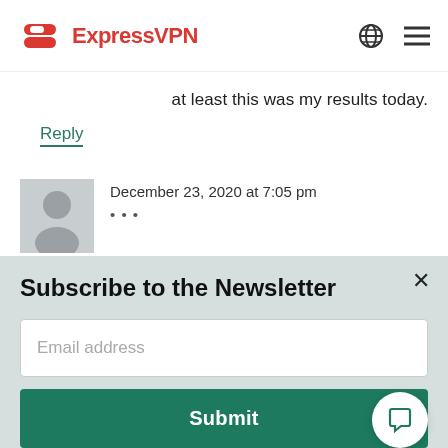ExpressVPN
at least this was my results today.
Reply
December 23, 2020 at 7:05 pm
Subscribe to the Newsletter
Email address
Submit